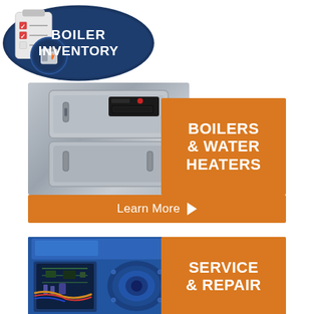[Figure (logo): Boiler Inventory badge/logo with clipboard icon and boiler icon on dark blue oval shape, text reads BOILER INVENTORY in white bold.]
[Figure (photo): Silver/grey modern boiler unit, front view, box-shaped with control panel, overlapping orange banner reading BOILERS & WATER HEATERS with Learn More button.]
BOILERS & WATER HEATERS
Learn More
[Figure (photo): Blue industrial boiler unit with internal components visible (open panel), overlapping orange banner reading SERVICE & REPAIR.]
SERVICE & REPAIR
Learn More